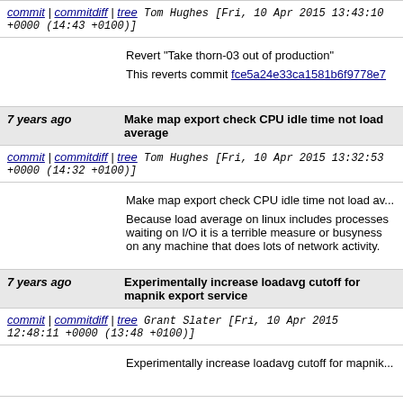commit | commitdiff | tree   Tom Hughes [Fri, 10 Apr 2015 13:43:10 +0000 (14:43 +0100)]
Revert "Take thorn-03 out of production"

This reverts commit fce5a24e33ca1581b6f9778e7...
7 years ago   Make map export check CPU idle time not load average
commit | commitdiff | tree   Tom Hughes [Fri, 10 Apr 2015 13:32:53 +0000 (14:32 +0100)]
Make map export check CPU idle time not load average

Because load average on linux includes processes waiting on I/O it is a terrible measure or busyness on any machine that does lots of network activity.
7 years ago   Experimentally increase loadavg cutoff for mapnik export service
commit | commitdiff | tree   Grant Slater [Fri, 10 Apr 2015 12:48:11 +0000 (13:48 +0100)]
Experimentally increase loadavg cutoff for mapnik...